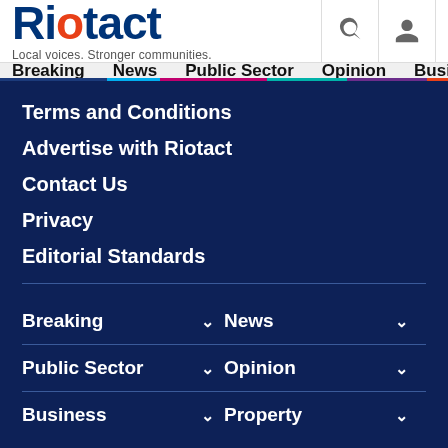[Figure (logo): Riotact logo with orange dot, tagline: Local voices. Stronger communities.]
Breaking  News  Public Sector  Opinion  Business  R
Terms and Conditions
Advertise with Riotact
Contact Us
Privacy
Editorial Standards
Breaking
News
Public Sector
Opinion
Business
Property